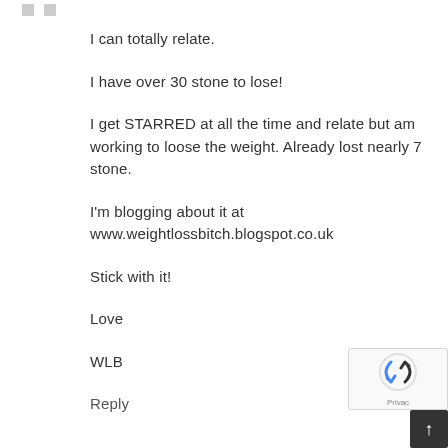I can totally relate.
I have over 30 stone to lose!
I get STARRED at all the time and relate but am working to loose the weight. Already lost nearly 7 stone.
I'm blogging about it at www.weightlossbitch.blogspot.co.uk
Stick with it!
Love
WLB
Reply